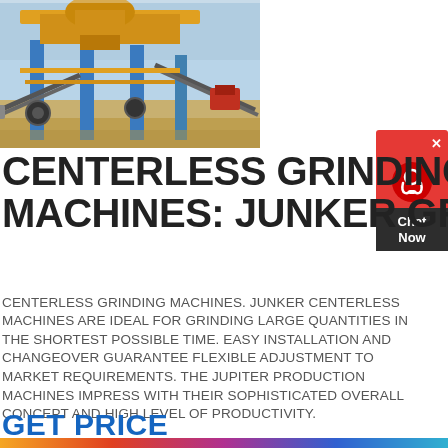[Figure (photo): Industrial mining or crushing plant machinery with yellow and blue steel structures, conveyor belts, and large processing equipment against a clear sky background.]
CENTERLESS GRINDING MACHINES: JUNKER GROUP
CENTERLESS GRINDING MACHINES. JUNKER CENTERLESS MACHINES ARE IDEAL FOR GRINDING LARGE QUANTITIES IN THE SHORTEST POSSIBLE TIME. EASY INSTALLATION AND CHANGEOVER GUARANTEE FLEXIBLE ADJUSTMENT TO MARKET REQUIREMENTS. THE JUPITER PRODUCTION MACHINES IMPRESS WITH THEIR SOPHISTICATED OVERALL CONCEPT AND HIGH LEVEL OF PRODUCTIVITY.
GET PRICE